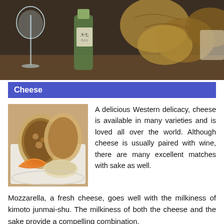[Figure (photo): Photo of a wine glass, a sake bottle with Japanese label, and rustic bread loaves on a dark background]
Cheese
[Figure (photo): Photo of an assortment of cheeses and bread on a white plate, including sliced baguette and orange wedges]
A delicious Western delicacy, cheese is available in many varieties and is loved all over the world. Although cheese is usually paired with wine, there are many excellent matches with sake as well.
Mozzarella, a fresh cheese, goes well with the milkiness of kimoto junmai-shu. The milkiness of both the cheese and the sake provide a compelling combination.